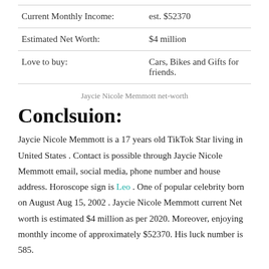| Current Monthly Income: | est. $52370 |
| Estimated Net Worth: | $4 million |
| Love to buy: | Cars, Bikes and Gifts for friends. |
Jaycie Nicole Memmott net-worth
Conclsuion:
Jaycie Nicole Memmott is a 17 years old TikTok Star living in United States . Contact is possible through Jaycie Nicole Memmott email, social media, phone number and house address. Horoscope sign is Leo . One of popular celebrity born on August Aug 15, 2002 . Jaycie Nicole Memmott current Net worth is estimated $4 million as per 2020. Moreover, enjoying monthly income of approximately $52370. His luck number is 585.